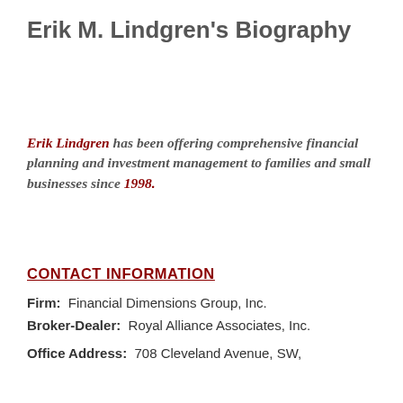Erik M. Lindgren's Biography
Erik Lindgren has been offering comprehensive financial planning and investment management to families and small businesses since 1998.
CONTACT INFORMATION
Firm: Financial Dimensions Group, Inc.
Broker-Dealer: Royal Alliance Associates, Inc.
Office Address: 708 Cleveland Avenue, SW,